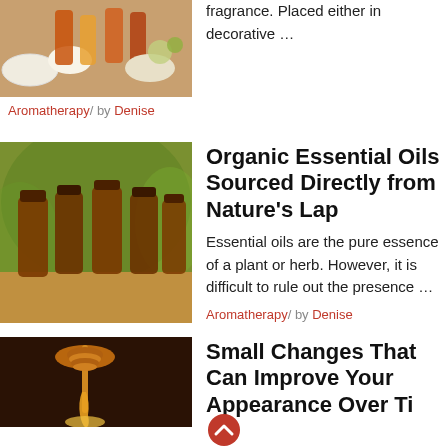[Figure (photo): Spices and herbs in jars/bowls on a wooden surface (partial, top of page)]
fragrance. Placed either in decorative …
Aromatherapy / by Denise
[Figure (photo): Several amber/brown glass essential oil bottles outdoors with green foliage background]
Organic Essential Oils Sourced Directly from Nature's Lap
Essential oils are the pure essence of a plant or herb. However, it is difficult to rule out the presence …
Aromatherapy / by Denise
[Figure (photo): A honey dipper with honey dripping into a jar, dark brown background]
Small Changes That Can Improve Your Appearance Over Time